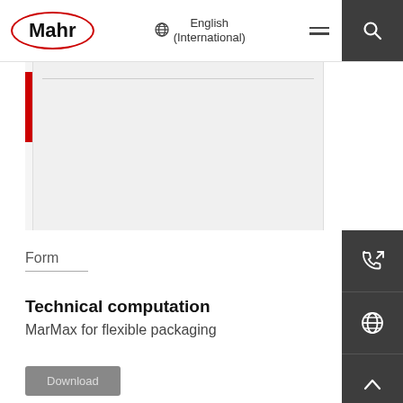[Figure (logo): Mahr company logo — bold text 'Mahr' inside a red oval ellipse]
English (International)
[Figure (photo): Partial product image showing a white/light-grey rectangular measuring instrument with a red vertical bar accent on the left side]
Form
Technical computation
MarMax for flexible packaging
Download